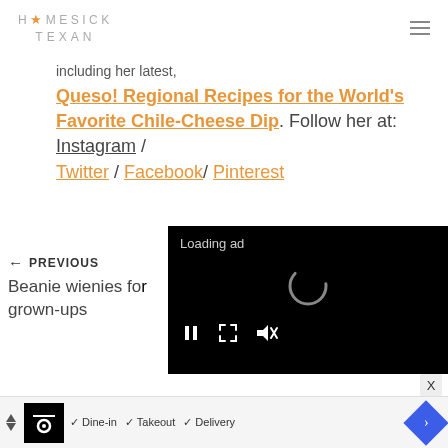HOMESICK TEXAN
including her latest,
Queso! Regional Recipes for the World's Favorite Chile-Cheese Dip. Follow her at: Instagram / Twitter / Facebook/ Pinterest
← PREVIOUS
Beanie wienies for grown-ups
[Figure (screenshot): Video player overlay showing 'Loading ad' text, a spinning loader icon, and video controls (pause, fullscreen, mute) on a black background]
✓ Dine-in  ✓ Takeout  ✓ Delivery